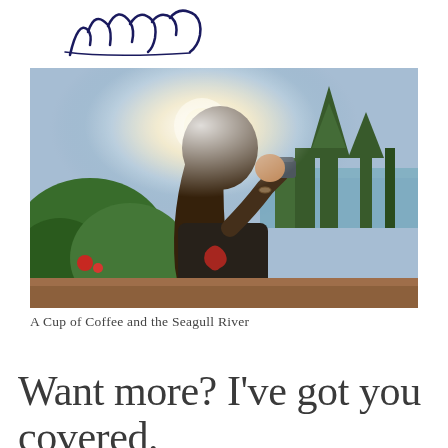[Figure (illustration): Handwritten cursive signature or script text in dark navy/blue ink on white background]
[Figure (photo): A person with long dark hair drinking from a cup or mug outdoors, backlit by bright sunlight, surrounded by trees including a tall evergreen, with a lake or river visible in the background. The person is wearing a black shirt with a red graphic. The scene is lush and green.]
A Cup of Coffee and the Seagull River
Want more? I've got you covered.